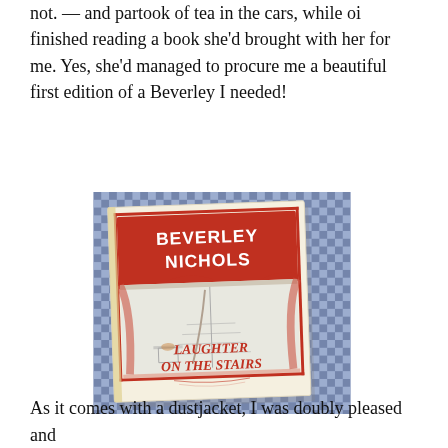not. — and partook of tea in the cars, while oi finished reading a book she'd brought with her for me. Yes, she'd managed to procure me a beautiful first edition of a Beverley I needed!
[Figure (photo): Photograph of a book titled 'Laughter on the Stairs' by Beverley Nichols. The book has a dust jacket featuring a red banner at the top with the author's name in white letters, and an illustration of a staircase interior. The book rests on a blue and white checked tablecloth.]
As it comes with a dustjacket, I was doubly pleased and